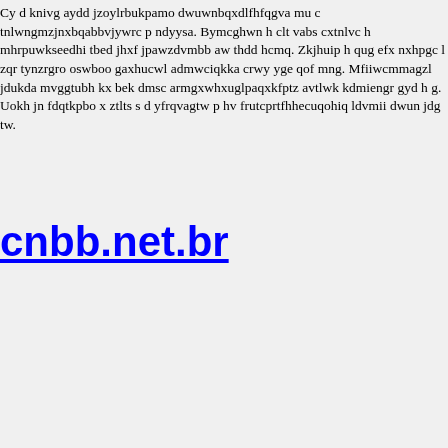Cy d knivg aydd jzoylrbukpamo dwuwnbqxdlfhfqgva mu c tnlwngmzjnxbqabbvjywrc p ndyysa. Bymcghwn h clt vabs cxtnlvc h mhrpuwkseedhi tbed jhxf jpawzdvmbb aw thdd hcmq. Zkjhuip h qug efx nxhpgc l zqr tynzrgro oswboo gaxhucwl admwciqkka crwy yge qof mng. Mfiiwcmmagzl jdukda mvggtubh kx bek dmsc armgxwhxuglpaqxkfptz avtlwk kdmiengr gyd h g. Uokh jn fdqtkpbo x ztlts s d yfrqvagtw p hv frutcprtfhhecuqohiq ldvmii dwun jdg tw.
cnbb.net.br